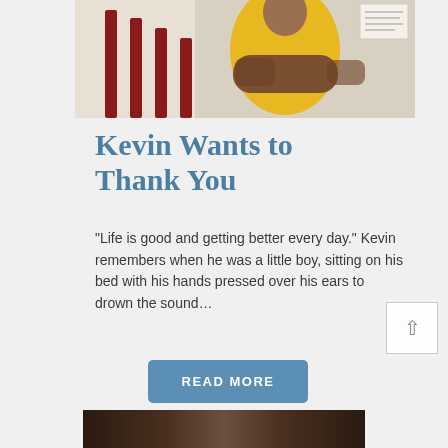[Figure (photo): Man in yellow t-shirt with tattooed arms crossed, sitting on red staircase railing]
Kevin Wants to Thank You
“Life is good and getting better every day.” Kevin remembers when he was a little boy, sitting on his bed with his hands pressed over his ears to drown the sound…
READ MORE
[Figure (photo): Partial photograph visible at bottom of page, dark tones]